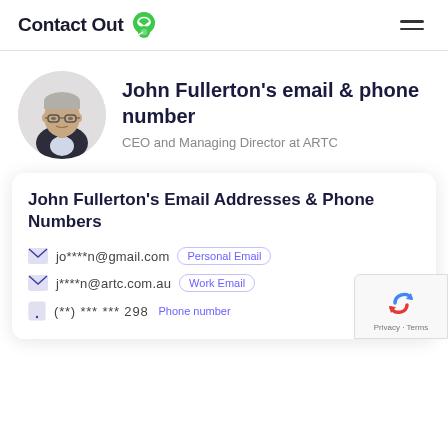ContactOut
John Fullerton's email & phone number
CEO and Managing Director at ARTC
John Fullerton's Email Addresses & Phone Numbers
jo****n@gmail.com  Personal Email
j****n@artc.com.au  Work Email
(**) *** *** 298  Phone number